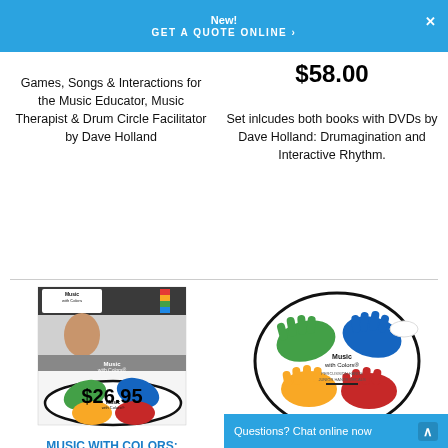New! GET A QUOTE ONLINE ›
$58.00
Games, Songs & Interactions for the Music Educator, Music Therapist & Drum Circle Facilitator by Dave Holland
Set inlcudes both books with DVDs by Dave Holland: Drumagination and Interactive Rhythm.
[Figure (photo): Music with Colors Percussion Hands Junior Strike Pad product packaging showing colorful hand-shaped pads on an oval surface]
[Figure (photo): Music with Colors Percussion Hands Junior Hands Decals showing colored hand decals (green, blue, yellow, red) arranged on a circular pad]
MUSIC WITH COLORS: Percussion Hands Junior Strike Pad
Item No: 4991
MUSIC WITH COLORS: Percussion Hands Junior Hands Decals
Item No: 4992
$26.95
Questions? Chat online now